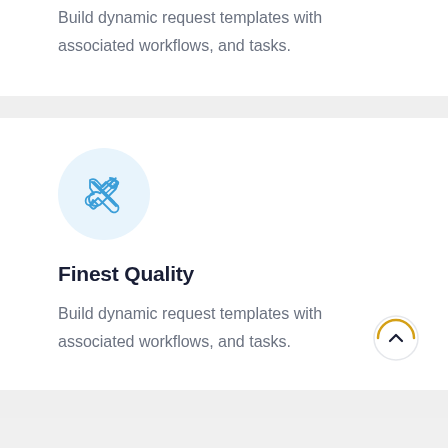Build dynamic request templates with associated workflows, and tasks.
[Figure (illustration): Light blue circular icon containing crossed wrench and screwdriver tools in blue outline style]
Finest Quality
Build dynamic request templates with associated workflows, and tasks.
[Figure (illustration): Circular scroll-to-top button with orange/gold arc border and upward chevron arrow inside]